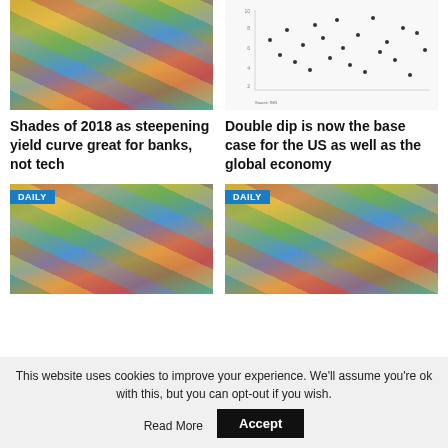[Figure (photo): Photo of various international banknotes/currency spread out]
[Figure (continuous-plot): Scatter/dot plot chart, small financial data chart with dots on white background]
Shades of 2018 as steepening yield curve great for banks, not tech
Double dip is now the base case for the US as well as the global economy
[Figure (photo): Photo of various international banknotes/currency spread out, with DAILY badge]
[Figure (photo): Photo of various international banknotes/currency spread out, with DAILY badge]
This website uses cookies to improve your experience. We'll assume you're ok with this, but you can opt-out if you wish.
Accept
Read More